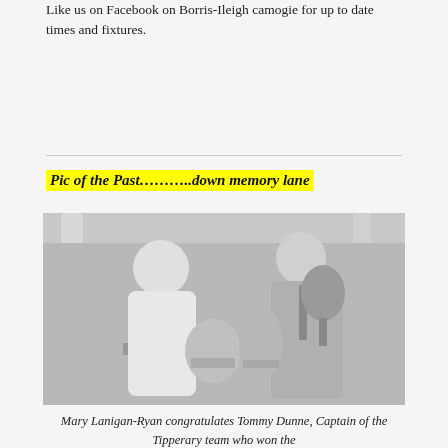Like us on Facebook on Borris-Ileigh camogie for up to date times and fixtures.
Pic of the Past………..down memory lane
[Figure (photo): Black and white photograph of Mary Lanigan-Ryan congratulating Tommy Dunne, Captain of the Tipperary team, with trophies on a table in the foreground, taken in an indoor venue with pillars in the background.]
Mary Lanigan-Ryan congratulates Tommy Dunne, Captain of the Tipperary team who won the